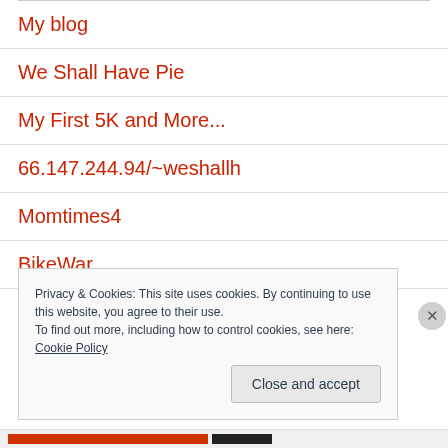My blog
We Shall Have Pie
My First 5K and More...
66.147.244.94/~weshallh
Momtimes4
BikeWar
Privacy & Cookies: This site uses cookies. By continuing to use this website, you agree to their use.
To find out more, including how to control cookies, see here: Cookie Policy
Close and accept